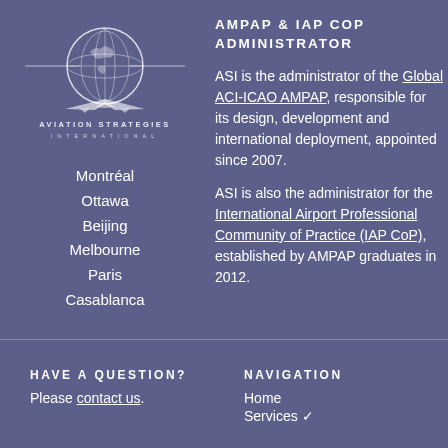[Figure (logo): Aviation Strategies International globe and aircraft logo with text AVIATION STRATEGIES INTERNATIONAL]
Montréal
Ottawa
Beijing
Melbourne
Paris
Casablanca
AMPAP & IAP COP ADMINISTRATOR
ASI is the administrator of the Global ACI-ICAO AMPAP, responsible for its design, development and international deployment, appointed since 2007.
ASI is also the administrator for the International Airport Professional Community of Practice (IAP CoP), established by AMPAP graduates in 2012.
HAVE A QUESTION?
Please contact us.
NAVIGATION
Home
Services